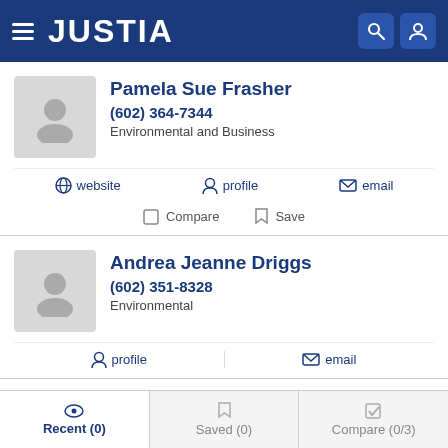JUSTIA
Pamela Sue Frasher
(602) 364-7344
Environmental and Business
website  profile  email
Compare  Save
Andrea Jeanne Driggs
(602) 351-8328
Environmental
profile  email
Recent (0)  Saved (0)  Compare (0/3)